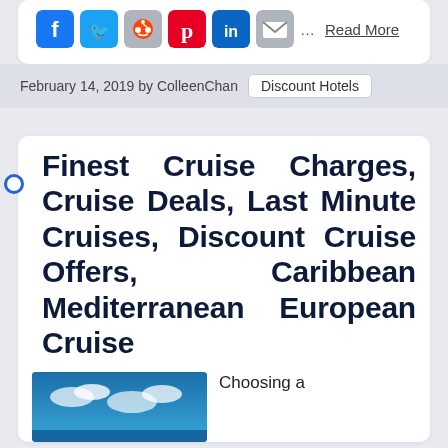[Figure (other): Social media sharing icons: Facebook, Twitter, Reddit, Pinterest, LinkedIn, Email, followed by 'Read More' link]
February 14, 2019 by ColleenChan   Discount Hotels
Finest Cruise Charges, Cruise Deals, Last Minute Cruises, Discount Cruise Offers, Caribbean Mediterranean European Cruise
[Figure (photo): Cruise ship photo with blue sky and clouds, partially visible]
Choosing a